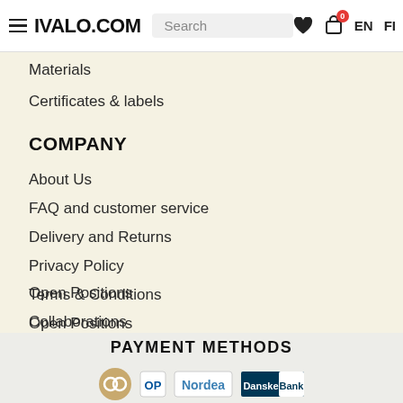IVALO.COM  Search  EN  FI
Materials
Certificates & labels
COMPANY
About Us
FAQ and customer service
Delivery and Returns
Privacy Policy
Terms & Conditions
Open Positions
Collaborations
PAYMENT METHODS
[Figure (logo): Payment method logos: OB (circular logo), OP, Nordea, Danske Bank]